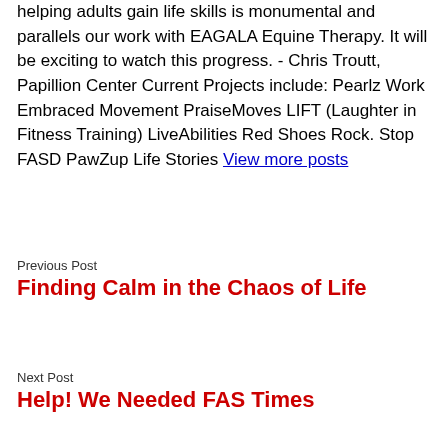helping adults gain life skills is monumental and parallels our work with EAGALA Equine Therapy. It will be exciting to watch this progress. - Chris Troutt, Papillion Center Current Projects include: Pearlz Work Embraced Movement PraiseMoves LIFT (Laughter in Fitness Training) LiveAbilities Red Shoes Rock. Stop FASD PawZup Life Stories View more posts
Previous Post
Finding Calm in the Chaos of Life
Next Post
Help! We Needed FAS Times